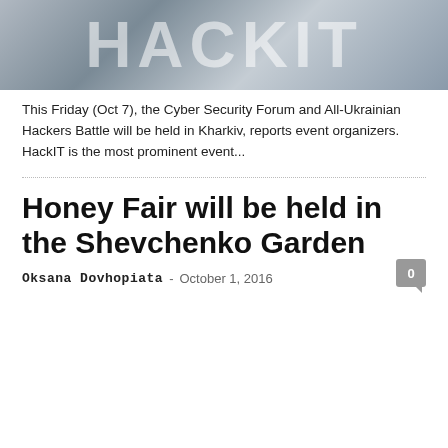[Figure (photo): HackIT event banner image showing large white 3D letters spelling HackIT on a colorful background]
This Friday (Oct 7), the Cyber Security Forum and All-Ukrainian Hackers Battle will be held in Kharkiv, reports event organizers. HackIT is the most prominent event...
Honey Fair will be held in the Shevchenko Garden
Oksana Dovhopiata - October 1, 2016